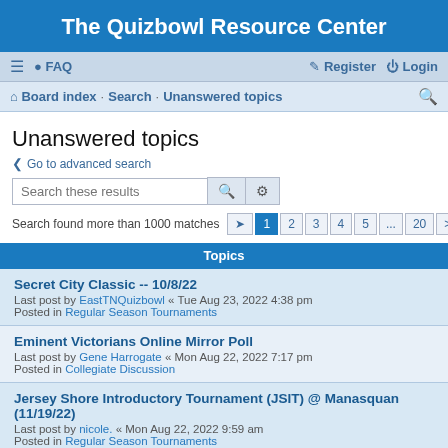The Quizbowl Resource Center
≡  FAQ    Register  Login
Board index · Search · Unanswered topics
Unanswered topics
< Go to advanced search
Search these results
Search found more than 1000 matches  1 2 3 4 5 ... 20 >
Topics
Secret City Classic -- 10/8/22
Last post by EastTNQuizbowl « Tue Aug 23, 2022 4:38 pm
Posted in Regular Season Tournaments
Eminent Victorians Online Mirror Poll
Last post by Gene Harrogate « Mon Aug 22, 2022 7:17 pm
Posted in Collegiate Discussion
Jersey Shore Introductory Tournament (JSIT) @ Manasquan (11/19/22)
Last post by nicole. « Mon Aug 22, 2022 9:59 am
Posted in Regular Season Tournaments